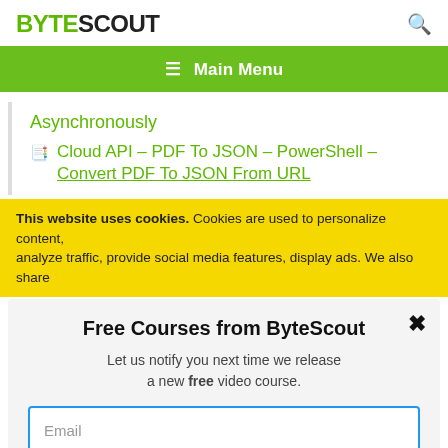BYTESCOUT
≡  Main Menu
Asynchronously
📋 Cloud API – PDF To JSON – PowerShell – Convert PDF To JSON From URL
This website uses cookies. Cookies are used to personalize content, analyze traffic, provide social media features, display ads. We also share
Free Courses from ByteScout
Let us notify you next time we release a new free video course.
Email
SUBSCRIBE